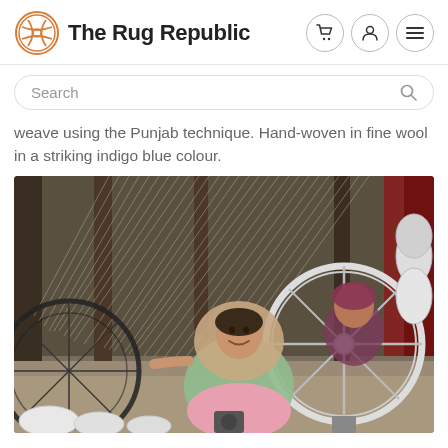The Rug Republic
weave using the Punjab technique. Hand-woven in fine wool in a striking indigo blue colour.
[Figure (photo): Two women working at a traditional weaving loom with white spinning wheels in foreground. The woman in the center is smiling, wearing a green salwar and pink dupatta. Threads are stretched across the loom in the background.]